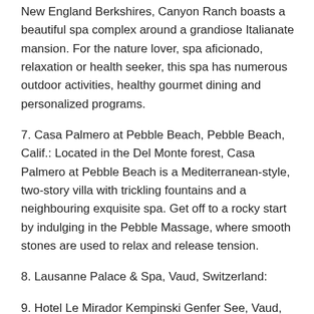New England Berkshires, Canyon Ranch boasts a beautiful spa complex around a grandiose Italianate mansion. For the nature lover, spa aficionado, relaxation or health seeker, this spa has numerous outdoor activities, healthy gourmet dining and personalized programs.
7. Casa Palmero at Pebble Beach, Pebble Beach, Calif.: Located in the Del Monte forest, Casa Palmero at Pebble Beach is a Mediterranean-style, two-story villa with trickling fountains and a neighbouring exquisite spa. Get off to a rocky start by indulging in the Pebble Massage, where smooth stones are used to relax and release tension.
8. Lausanne Palace & Spa, Vaud, Switzerland:
9. Hotel Le Mirador Kempinski Genfer See, Vaud, Switzerland